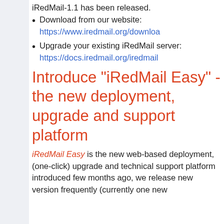iRedMail-1.1 has been released.
Download from our website: https://www.iredmail.org/downloa
Upgrade your existing iRedMail server: https://docs.iredmail.org/iredmail
Introduce "iRedMail Easy" - the new deployment, upgrade and support platform
iRedMail Easy is the new web-based deployment, (one-click) upgrade and technical support platform introduced few months ago, we release new version frequently (currently one new